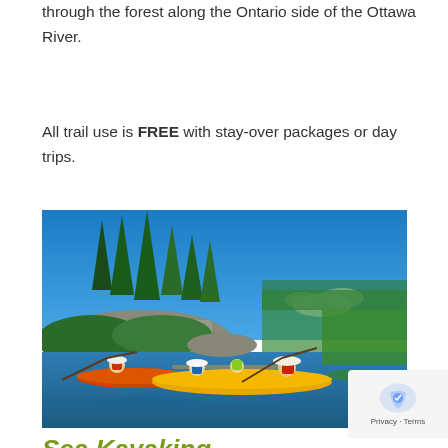through the forest along the Ontario side of the Ottawa River.
All trail use is FREE with stay-over packages or day trips.
[Figure (photo): People kayaking on a calm river with evergreen trees and rock outcroppings in the background under a bright blue sky. Several kayaks visible including yellow and orange ones with multiple paddlers.]
Sea Kayaking